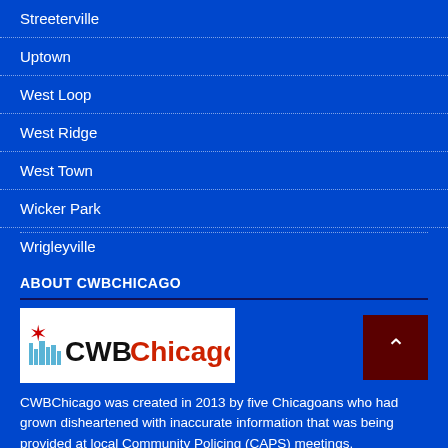Streeterville
Uptown
West Loop
West Ridge
West Town
Wicker Park
Wrigleyville
ABOUT CWBCHICAGO
[Figure (logo): CWBChicago logo with red star and blue skyline silhouette, text 'CWB' in black and 'Chicago' in red]
CWBChicago was created in 2013 by five Chicagoans who had grown disheartened with inaccurate information that was being provided at local Community Policing (CAPS) meetings.